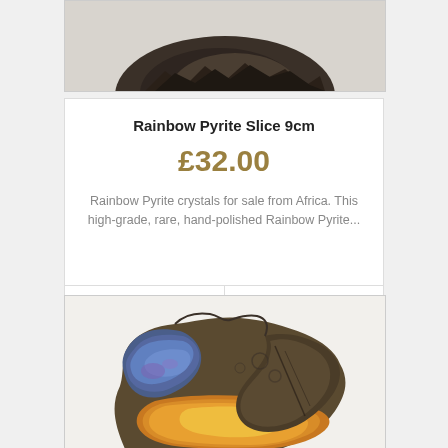[Figure (photo): Top portion of a Rainbow Pyrite mineral slice showing dark metallic rock surface, cropped at top]
Rainbow Pyrite Slice 9cm
£32.00
Rainbow Pyrite crystals for sale from Africa. This high-grade, rare, hand-polished Rainbow Pyrite...
BUY NOW | More Info
[Figure (photo): Rainbow Pyrite mineral slice photographed from above on white background, showing iridescent blue, purple, orange and gold metallic colors]